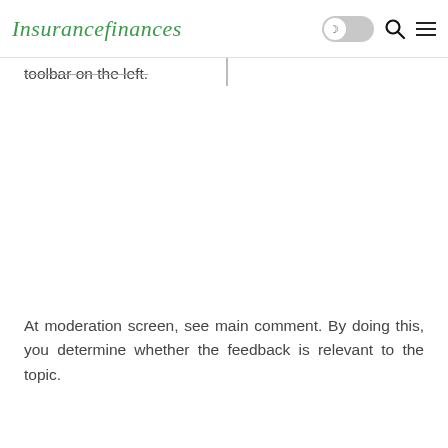Insurancefinances
toolbar on the left.
At moderation screen, see main comment. By doing this, you determine whether the feedback is relevant to the topic.